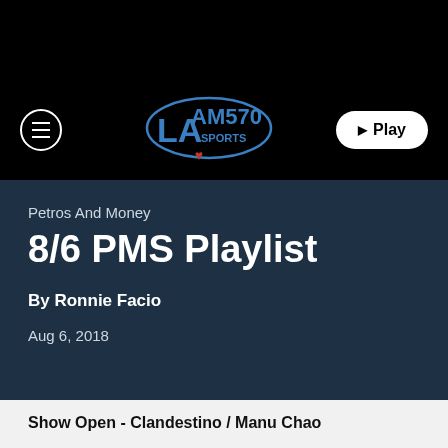[Figure (logo): AM570 LA Sports radio logo with iHeartRadio heart icon, blue and red colors on black background]
Petros And Money
8/6 PMS Playlist
By Ronnie Facio
Aug 6, 2018
Show Open - Clandestino / Manu Chao